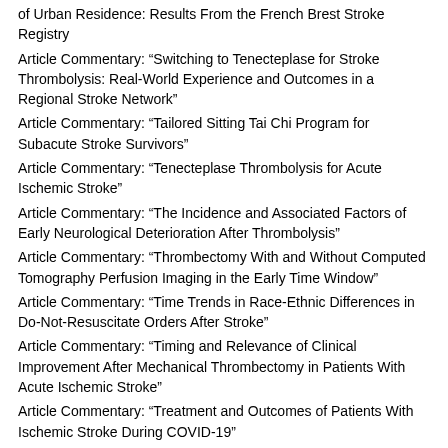of Urban Residence: Results From the French Brest Stroke Registry
Article Commentary: “Switching to Tenecteplase for Stroke Thrombolysis: Real-World Experience and Outcomes in a Regional Stroke Network”
Article Commentary: “Tailored Sitting Tai Chi Program for Subacute Stroke Survivors”
Article Commentary: “Tenecteplase Thrombolysis for Acute Ischemic Stroke”
Article Commentary: “The Incidence and Associated Factors of Early Neurological Deterioration After Thrombolysis”
Article Commentary: “Thrombectomy With and Without Computed Tomography Perfusion Imaging in the Early Time Window”
Article Commentary: “Time Trends in Race-Ethnic Differences in Do-Not-Resuscitate Orders After Stroke”
Article Commentary: “Timing and Relevance of Clinical Improvement After Mechanical Thrombectomy in Patients With Acute Ischemic Stroke”
Article Commentary: “Treatment and Outcomes of Patients With Ischemic Stroke During COVID-19”
Article Commentary: “Trends in Stroke Recurrence in Mexican Americans and Non-Hispanic Whites”
Article Commentary: “Unequal Local Progress Towards Healthy People 2020 Objectives for Stroke and Coronary Heart Disease Mortality”
Article Commentary: “Use of Statins After Ischemic Stroke in Young Adults and its Association With Long-Term Outcome”